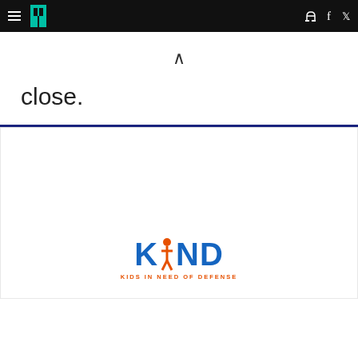HuffPost navigation header with hamburger menu, logo, Facebook and Twitter icons
close.
[Figure (logo): KIND - Kids in Need of Defense logo. Blue bold text 'KIND' with an orange figure of a person as the letter 'i', and orange subtitle text 'KIDS IN NEED OF DEFENSE']